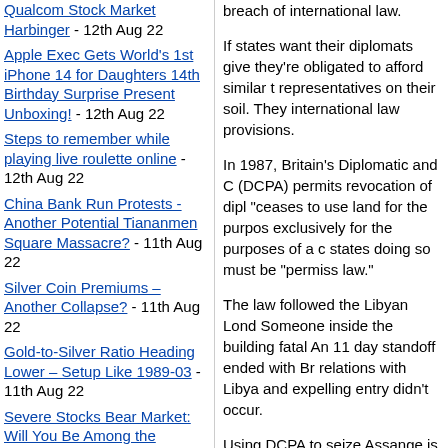Qualcom Stock Market Harbinger - 12th Aug 22
Apple Exec Gets World's 1st iPhone 14 for Daughters 14th Birthday Surprise Present Unboxing! - 12th Aug 22
Steps to remember while playing live roulette online - 12th Aug 22
China Bank Run Protests - Another Potential Tiananmen Square Massacre? - 11th Aug 22
Silver Coin Premiums – Another Collapse? - 11th Aug 22
Gold-to-Silver Ratio Heading Lower – Setup Like 1989-03 - 11th Aug 22
Severe Stocks Bear Market: Will You Be Among the Prepared 1.5%? - 11th Aug 22
There's a Hole in My Bucket Dear Liza, UK Summer Heatwave Plants Watering Problem Song -
breach of international law.
If states want their diplomats give they're obligated to afford similar t representatives on their soil. They international law provisions.
In 1987, Britain's Diplomatic and C (DCPA) permits revocation of dipl "ceases to use land for the purpos exclusively for the purposes of a c states doing so must be "permiss law."
The law followed the Libyan Lond Someone inside the building fatal An 11 day standoff ended with Br relations with Libya and expelling entry didn't occur.
Using DCPA to seize Assange is p would set a dangerous precedent diplomats at risk.
DCPA addressed situations involv serious wrongdoing. Sheltering As